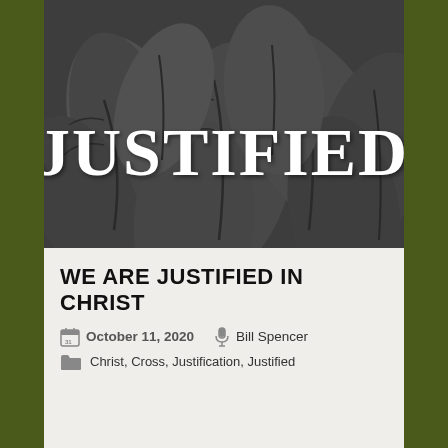[Figure (illustration): Dark background with stylized leaf/foliage pattern in shades of gray and dark charcoal, with large bold white serif text reading 'JUSTIFIED' overlaid at the top]
WE ARE JUSTIFIED IN CHRIST
October 11, 2020   Bill Spencer
Christ, Cross, Justification, Justified